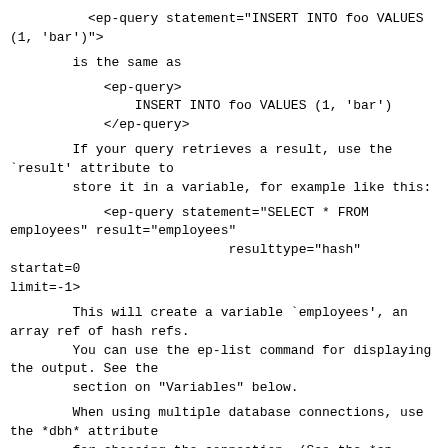<ep-query statement="INSERT INTO foo VALUES
(1, 'bar')">
is the same as
<ep-query>
                INSERT INTO foo VALUES (1, 'bar')
            </ep-query>
If your query retrieves a result, use the
`result' attribute to
        store it in a variable, for example like this:
<ep-query statement="SELECT * FROM
employees" result="employees"
                            resulttype="hash" startat=0
limit=-1>
This will create a variable `employees', an
array ref of hash refs.
        You can use the ep-list command for displaying
the output. See the
        section on "Variables" below.
When using multiple database connections, use
the *dbh* attribute
        for choosing the connection. (See the *ep-
database* method above.)
If you have big result tables, you might prefer